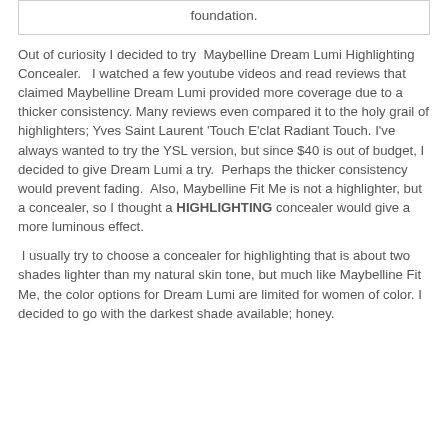foundation.
Out of curiosity I decided to try Maybelline Dream Lumi Highlighting Concealer. I watched a few youtube videos and read reviews that claimed Maybelline Dream Lumi provided more coverage due to a thicker consistency. Many reviews even compared it to the holy grail of highlighters; Yves Saint Laurent 'Touch E'clat Radiant Touch. I've always wanted to try the YSL version, but since $40 is out of budget, I decided to give Dream Lumi a try. Perhaps the thicker consistency would prevent fading. Also, Maybelline Fit Me is not a highlighter, but a concealer, so I thought a HIGHLIGHTING concealer would give a more luminous effect.
I usually try to choose a concealer for highlighting that is about two shades lighter than my natural skin tone, but much like Maybelline Fit Me, the color options for Dream Lumi are limited for women of color. I decided to go with the darkest shade available; honey.